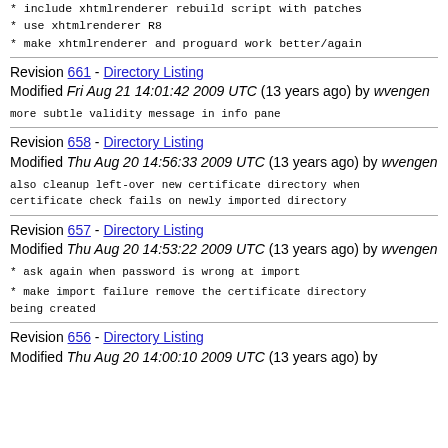* include xhtmlrenderer rebuild script with patches
* use xhtmlrenderer R8
* make xhtmlrenderer and proguard work better/again
Revision 661 - Directory Listing
Modified Fri Aug 21 14:01:42 2009 UTC (13 years ago) by wvengen
more subtle validity message in info pane
Revision 658 - Directory Listing
Modified Thu Aug 20 14:56:33 2009 UTC (13 years ago) by wvengen
also cleanup left-over new certificate directory when
certificate check fails on newly imported directory
Revision 657 - Directory Listing
Modified Thu Aug 20 14:53:22 2009 UTC (13 years ago) by wvengen
* ask again when password is wrong at import
* make import failure remove the certificate directory being created
Revision 656 - Directory Listing
Modified Thu Aug 20 14:00:10 2009 UTC (13 years ago) by...